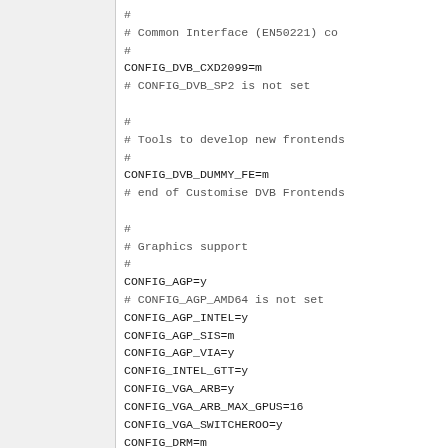#
# Common Interface (EN50221) co...
#
CONFIG_DVB_CXD2099=m
# CONFIG_DVB_SP2 is not set

#
# Tools to develop new frontends
#
CONFIG_DVB_DUMMY_FE=m
# end of Customise DVB Frontends

#
# Graphics support
#
CONFIG_AGP=y
# CONFIG_AGP_AMD64 is not set
CONFIG_AGP_INTEL=y
CONFIG_AGP_SIS=m
CONFIG_AGP_VIA=y
CONFIG_INTEL_GTT=y
CONFIG_VGA_ARB=y
CONFIG_VGA_ARB_MAX_GPUS=16
CONFIG_VGA_SWITCHEROO=y
CONFIG_DRM=m
CONFIG_DRM_MIPI_DSI=y
# CONFIG_DRM_DP_AUX_CHARDEV is n...
# CONFIG_DRM_DEBUG_SELFTEST is n...
CONFIG_DRM_KMS_HELPER=m
CONFIG_DRM_KMS_FB_HELPER=y
CONFIG_DRM_FBDEV_EMULATION=y
CONFIG_DRM_FBDEV_OVERALLOC=100